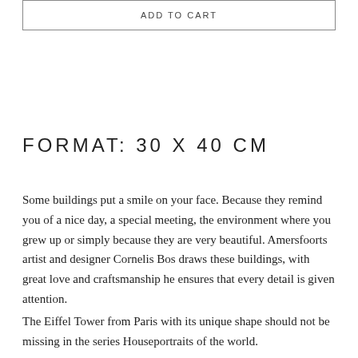ADD TO CART
FORMAT: 30 X 40 CM
Some buildings put a smile on your face. Because they remind you of a nice day, a special meeting, the environment where you grew up or simply because they are very beautiful. Amersfoorts artist and designer Cornelis Bos draws these buildings, with great love and craftsmanship he ensures that every detail is given attention.
The Eiffel Tower from Paris with its unique shape should not be missing in the series Houseportraits of the world.